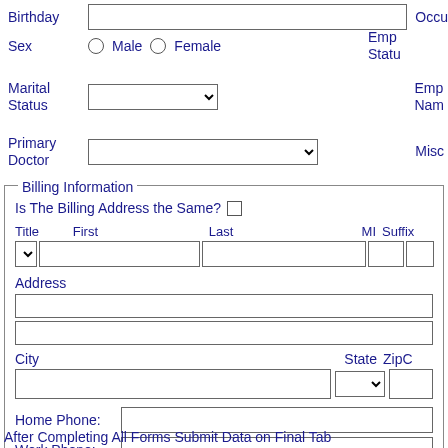Birthday
Occu
Sex   Male   Female
Emp Status
Marital Status
Emp Nam
Primary Doctor
Misc
Billing Information
Is The Billing Address the Same?
Title   First   Last   MI   Suffix
Address
City   State   ZipC
Home Phone:
Work Phone:
After Completing All Forms Submit Data on Final Tab